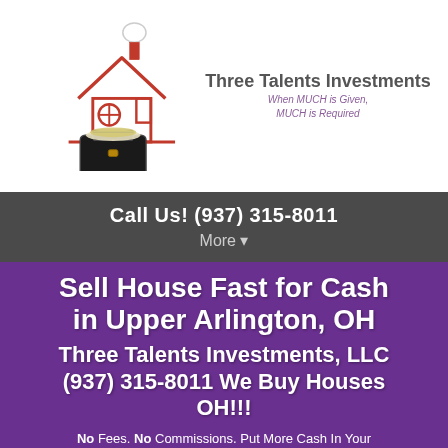[Figure (logo): Three Talents Investments logo with red house outline, briefcase with money, chimney with smoke, and company name/tagline]
Call Us! (937) 315-8011
More ▼
Sell House Fast for Cash in Upper Arlington, OH
Three Talents Investments, LLC (937) 315-8011 We Buy Houses OH!!!
No Fees. No Commissions. Put More Cash In Your Pocket